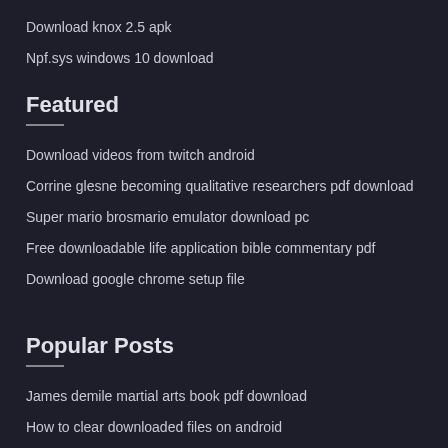Download knox 2.5 apk
Npf.sys windows 10 download
Featured
Download videos from twitch android
Corrine glesne becoming qualitative researchers pdf download
Super mario brosmario emulator download pc
Free downloadable life application bible commentary pdf
Download google chrome setup file
Popular Posts
James demile martial arts book pdf download
How to clear downloaded files on android
Homeland season 3 torrent download